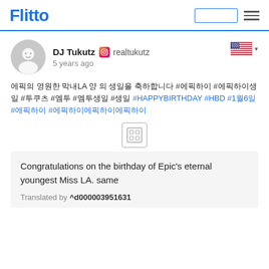Flitto
DJ Tukutz  realtukutz
5 years ago
에픽의 영원한 막내LA 양 의 생일을 축하합니다 #에픽하이 #에픽하이생일 #투쿠츠 #엠투 #엠투생일 #생일 #HAPPYBIRTHDAY #HBD #1월6일 #에픽하이 #에픽하이에픽하이에픽하이
[Figure (other): Image placeholder icon]
Congratulations on the birthday of Epic's eternal youngest Miss LA. same
Translated by ^d000003951631